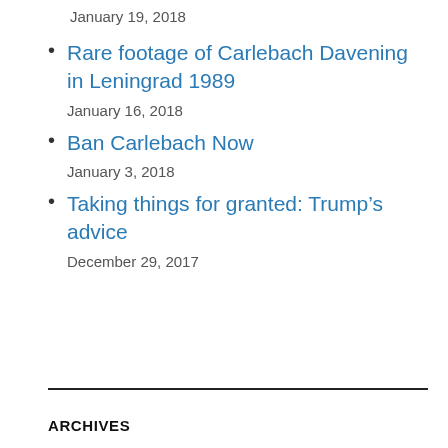January 19, 2018
Rare footage of Carlebach Davening in Leningrad 1989
January 16, 2018
Ban Carlebach Now
January 3, 2018
Taking things for granted: Trump’s advice
December 29, 2017
ARCHIVES